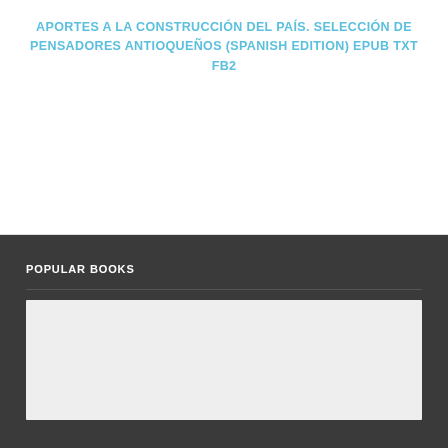APORTES A LA CONSTRUCCIÓN DEL PAÍS. SELECCIÓN DE PENSADORES ANTIOQUEÑOS (SPANISH EDITION) EPUB TXT FB2
POPULAR BOOKS
[Figure (other): Empty light gray placeholder box for popular books content]